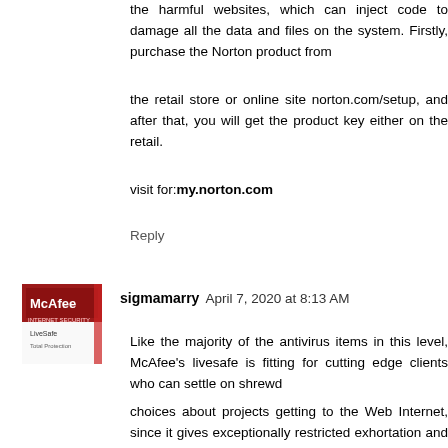the harmful websites, which can inject code to damage all the data and files on the system. Firstly, purchase the Norton product from
the retail store or online site norton.com/setup, and after that, you will get the product key either on the retail.
visit for:my.norton.com
Reply
sigmamarry April 7, 2020 at 8:13 AM
[Figure (photo): Avatar thumbnail showing McAfee product box with red and white branding]
Like the majority of the antivirus items in this level, McAfee's livesafe is fitting for cutting edge clients who can settle on shrewd
choices about projects getting to the Web Internet, since it gives exceptionally restricted exhortation and bearings. Mcafee Internet